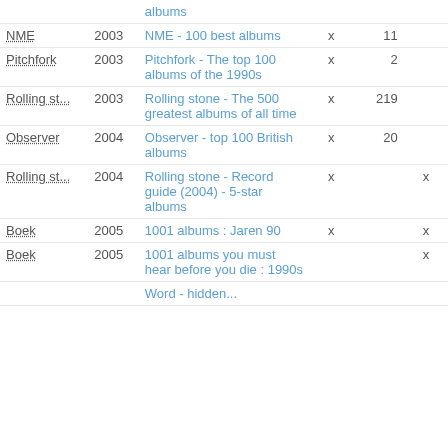| Source | Year | List name |  |  |  |
| --- | --- | --- | --- | --- | --- |
|  |  | albums |  |  |  |
| NME | 2003 | NME - 100 best albums | x | 11 |  |
| Pitchfork | 2003 | Pitchfork - The top 100 albums of the 1990s | x | 2 |  |
| Rolling st... | 2003 | Rolling stone - The 500 greatest albums of all time | x | 219 |  |
| Observer | 2004 | Observer - top 100 British albums | x | 20 |  |
| Rolling st... | 2004 | Rolling stone - Record guide (2004) - 5-star albums | x |  | x |
| Boek | 2005 | 1001 albums : Jaren 90 | x |  | x |
| Boek | 2005 | 1001 albums you must hear before you die : 1990s |  |  | x |
|  |  | Word - hidden... |  |  |  |